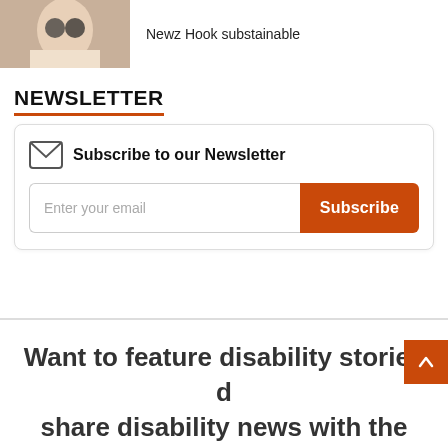[Figure (photo): Partial photo of a person, cropped at top of page]
Newz Hook substainable
NEWSLETTER
Subscribe to our Newsletter
Enter your email
Subscribe
Want to feature disability stories d share disability news with the